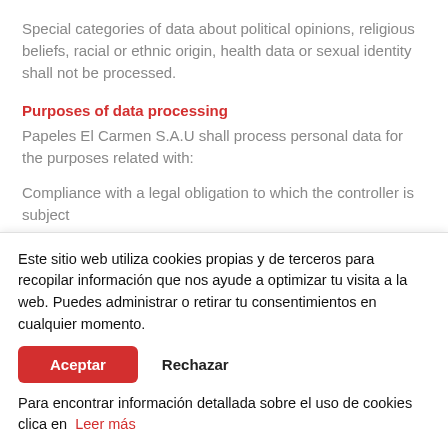Special categories of data about political opinions, religious beliefs, racial or ethnic origin, health data or sexual identity shall not be processed.
Purposes of data processing
Papeles El Carmen S.A.U shall process personal data for the purposes related with:
Compliance with a legal obligation to which the controller is subject
Performance and control of the contractual relationship
Este sitio web utiliza cookies propias y de terceros para recopilar información que nos ayude a optimizar tu visita a la web. Puedes administrar o retirar tu consentimientos en cualquier momento.
Para encontrar información detallada sobre el uso de cookies clica en Leer más